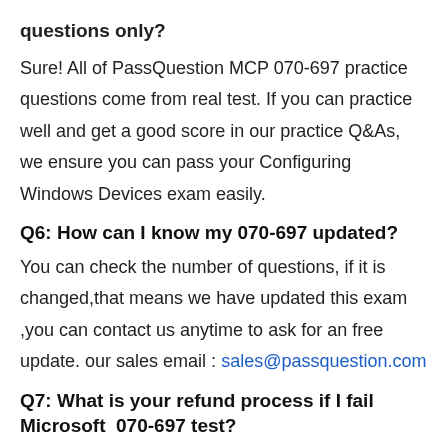questions only?
Sure! All of PassQuestion MCP 070-697 practice questions come from real test. If you can practice well and get a good score in our practice Q&As, we ensure you can pass your Configuring Windows Devices exam easily.
Q6: How can I know my 070-697 updated?
You can check the number of questions, if it is changed,that means we have updated this exam ,you can contact us anytime to ask for an free update. our sales email : sales@passquestion.com
Q7: What is your refund process if I fail Microsoft  070-697 test?
If you fail your 070-697 test in 60 days by studying our study